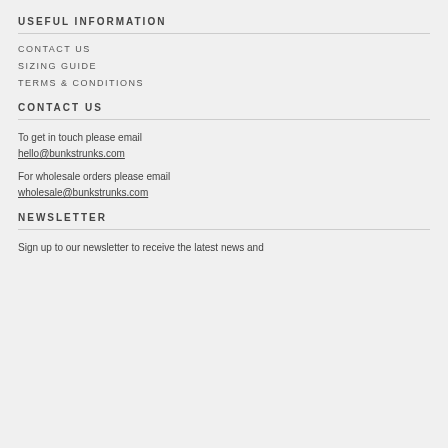USEFUL INFORMATION
CONTACT US
SIZING GUIDE
TERMS & CONDITIONS
CONTACT US
To get in touch please email
hello@bunkstrunks.com
For wholesale orders please email
wholesale@bunkstrunks.com
NEWSLETTER
Sign up to our newsletter to receive the latest news and